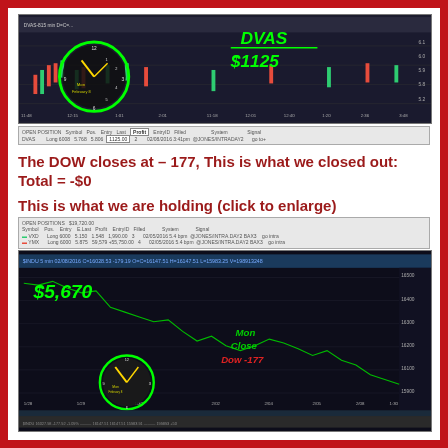[Figure (screenshot): Trading chart screenshot showing DVAS stock with $1125 profit annotation in green handwriting, clock overlay showing time near market open, candlestick chart on dark background. Open positions table shows Symbol DVAS, Pos Long 6008, Entry 5.768, Last 5.806, Profit 1125.00, EntryID 2, Filled 02/08/2016 3:41pm @JONES/INTRADAY2, System, Signal go to+]
The DOW closes at – 177, This is what we closed out: Total = -$0
This is what we are holding (click to enlarge)
[Figure (screenshot): Trading chart screenshot showing $INDU (Dow Jones) with $5,670 profit annotation in green handwriting. Clock overlay shows Monday market close. Red text annotation 'Mon Close Dow -177'. Candlestick chart on dark background showing price range around 15000-16500, dates from 1/28 to 1/30. Open positions table at top shows two positions. Bottom data bar shows INDU 16027.98 -177.92 -1.09% with other data.]